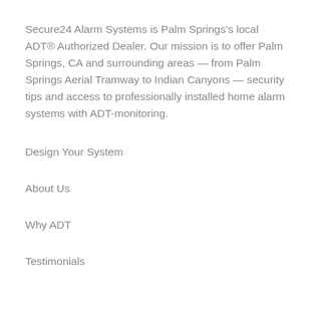Secure24 Alarm Systems is Palm Springs's local ADT® Authorized Dealer. Our mission is to offer Palm Springs, CA and surrounding areas — from Palm Springs Aerial Tramway to Indian Canyons — security tips and access to professionally installed home alarm systems with ADT-monitoring.
Design Your System
About Us
Why ADT
Testimonials